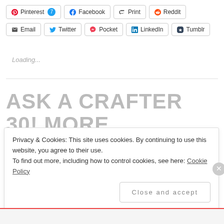Pinterest 7 | Facebook | Print | Reddit
Email | Twitter | Pocket | LinkedIn | Tumblr
Loading...
ASK A CRAFTER 30! MORE
Privacy & Cookies: This site uses cookies. By continuing to use this website, you agree to their use. To find out more, including how to control cookies, see here: Cookie Policy
Close and accept